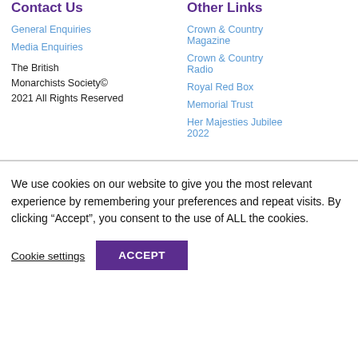Contact Us
Other Links
General Enquiries
Media Enquiries
The British Monarchists Society© 2021 All Rights Reserved
Crown & Country Magazine
Crown & Country Radio
Royal Red Box
Memorial Trust
Her Majesties Jubilee 2022
We use cookies on our website to give you the most relevant experience by remembering your preferences and repeat visits. By clicking "Accept", you consent to the use of ALL the cookies.
Cookie settings
ACCEPT